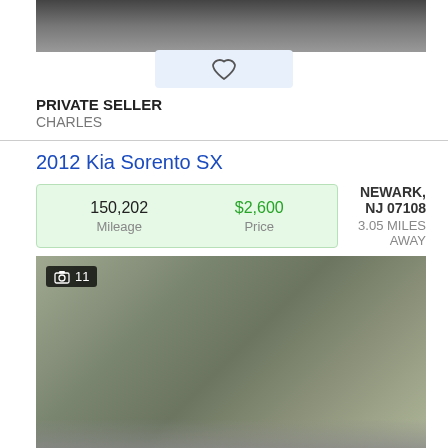[Figure (photo): Partial car photo (top, cropped) in gray/dark tones]
PRIVATE SELLER
CHARLES
2012 Kia Sorento SX
| Mileage | Price |
| --- | --- |
| 150,202 | $2,600 |
NEWARK, NJ 07108
3.05 MILES AWAY
[Figure (photo): 2012 Kia Sorento SX silver SUV parked outdoors, camera icon and photo count 11]
PRIVATE SELLER
NILS
2010 Honda Cr-V
| Mileage | Price |
| --- | --- |
| 239,400 | $7,500 |
BELLEVILLE, NJ 07109
3.44 MILES AWAY
[Figure (photo): Partial car photo bottom strip with camera icon and photo count 2]